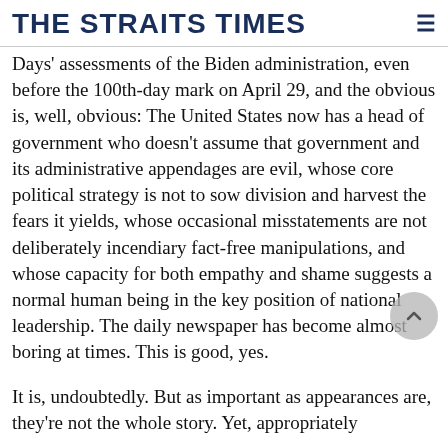THE STRAITS TIMES
Days' assessments of the Biden administration, even before the 100th-day mark on April 29, and the obvious is, well, obvious: The United States now has a head of government who doesn't assume that government and its administrative appendages are evil, whose core political strategy is not to sow division and harvest the fears it yields, whose occasional misstatements are not deliberately incendiary fact-free manipulations, and whose capacity for both empathy and shame suggests a normal human being in the key position of national leadership. The daily newspaper has become almost boring at times. This is good, yes.
It is, undoubtedly. But as important as appearances are, they're not the whole story. Yet, appropriately